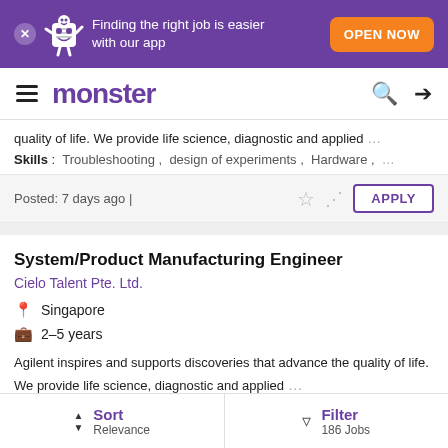[Figure (screenshot): Monster job board mobile app screenshot with purple banner, logo, and job listings]
Finding the right job is easier with our app | OPEN NOW
monster
quality of life. We provide life science, diagnostic and applied ...
Skills: Troubleshooting, design of experiments, Hardware, ...
Posted: 7 days ago |
System/Product Manufacturing Engineer
Cielo Talent Pte. Ltd.
Singapore
2–5 years
Agilent inspires and supports discoveries that advance the quality of life. We provide life science, diagnostic and applied ...
Sort Relevance | Filter 186 Jobs